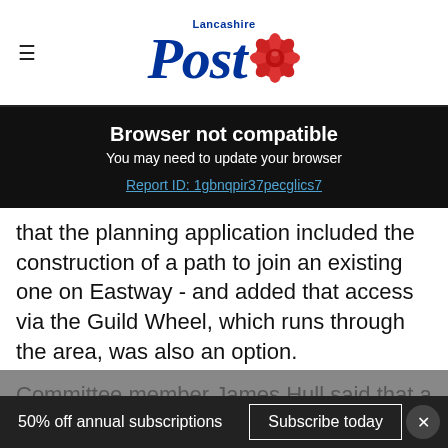Lancashire Post
Browser not compatible
You may need to update your browser
Report ID: 1gbnqpir37pecglics7
that the planning application included the construction of a path to join an existing one on Eastway - and added that access via the Guild Wheel, which runs through the area, was also an option.
Committee member James Hull said that a gym
50% off annual subscriptions   Subscribe today